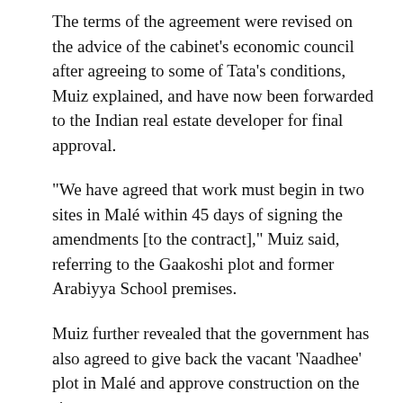The terms of the agreement were revised on the advice of the cabinet's economic council after agreeing to some of Tata's conditions, Muiz explained, and have now been forwarded to the Indian real estate developer for final approval.
“We have agreed that work must begin in two sites in Malé within 45 days of signing the amendments [to the contract],” Muiz said, referring to the Gaakoshi plot and former Arabiyya School premises.
Muiz further revealed that the government has also agreed to give back the vacant ‘Naadhee’ plot in Malé and approve construction on the site.
The site was taken over by the administration of former President Dr Mohamed Waheed with the intention of building a new Supreme Court complex